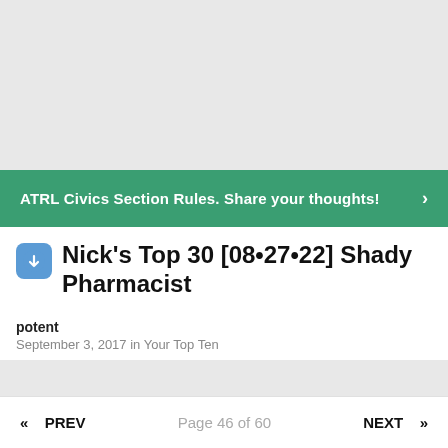[Figure (other): Gray placeholder advertisement area at top of page]
ATRL Civics Section Rules. Share your thoughts! >
Nick's Top 30 [08•27•22] Shady Pharmacist
potent
September 3, 2017 in Your Top Ten
« PREV   Page 46 of 60   NEXT »